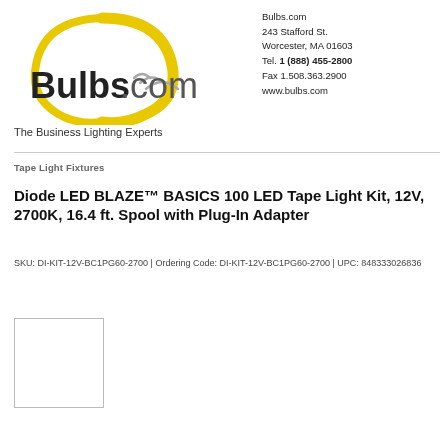[Figure (logo): Bulbs.com logo with yellow light bulb shape and bold text 'Bulbs.com']
The Business Lighting Experts
Bulbs.com
243 Stafford St.
Worcester, MA 01603
Tel. 1 (888) 455-2800
Fax 1.508.363.2900
www.bulbs.com
Tape Light Fixtures
Diode LED BLAZE™ BASICS 100 LED Tape Light Kit, 12V, 2700K, 16.4 ft. Spool with Plug-In Adapter
SKU: DI-KIT-12V-BC1PG60-2700 | Ordering Code: DI-KIT-12V-BC1PG60-2700 | UPC: 848333026836
[Figure (photo): Product image placeholder (empty white box with border)]